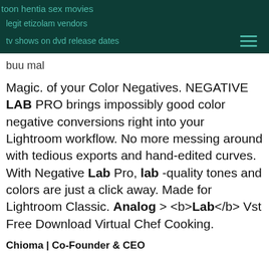toon hentia sex movies
legit etizolam vendors
tv shows on dvd release dates
buu mal
Magic. of your Color Negatives. NEGATIVE LAB PRO brings impossibly good color negative conversions right into your Lightroom workflow. No more messing around with tedious exports and hand-edited curves. With Negative Lab Pro, lab -quality tones and colors are just a click away. Made for Lightroom Classic. Analog > <b>Lab</b> Vst Free Download Virtual Chef Cooking.
Chioma | Co-Founder & CEO